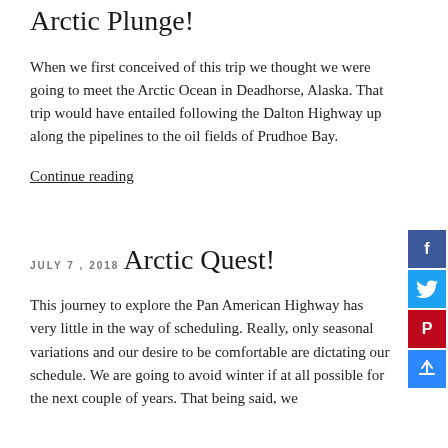Arctic Plunge!
When we first conceived of this trip we thought we were going to meet the Arctic Ocean in Deadhorse, Alaska. That trip would have entailed following the Dalton Highway up along the pipelines to the oil fields of Prudhoe Bay.
Continue reading
JULY 7, 2018
Arctic Quest!
This journey to explore the Pan American Highway has very little in the way of scheduling. Really, only seasonal variations and our desire to be comfortable are dictating our schedule. We are going to avoid winter if at all possible for the next couple of years. That being said, we